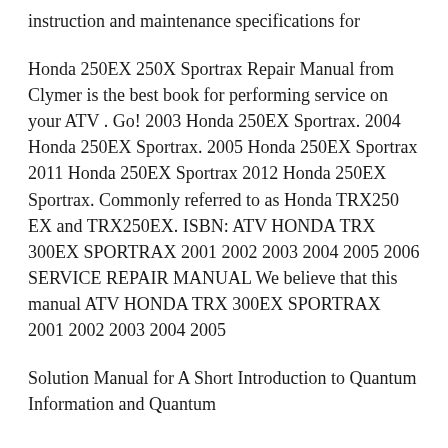instruction and maintenance specifications for
Honda 250EX 250X Sportrax Repair Manual from Clymer is the best book for performing service on your ATV . Go! 2003 Honda 250EX Sportrax. 2004 Honda 250EX Sportrax. 2005 Honda 250EX Sportrax 2011 Honda 250EX Sportrax 2012 Honda 250EX Sportrax. Commonly referred to as Honda TRX250 EX and TRX250EX. ISBN: ATV HONDA TRX 300EX SPORTRAX 2001 2002 2003 2004 2005 2006 SERVICE REPAIR MANUAL We believe that this manual ATV HONDA TRX 300EX SPORTRAX 2001 2002 2003 2004 2005
Solution Manual for A Short Introduction to Quantum Information and Quantum